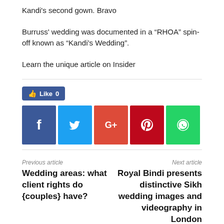Kandi's second gown. Bravo
Burruss' wedding was documented in a “RHOA” spin-off known as “Kandi’s Wedding”.
Learn the unique article on Insider
[Figure (other): Facebook Like button showing count 0]
[Figure (other): Social sharing icons: Facebook, Twitter, Google+, Pinterest, WhatsApp]
Previous article
Wedding areas: what client rights do {couples} have?
Next article
Royal Bindi presents distinctive Sikh wedding images and videography in London